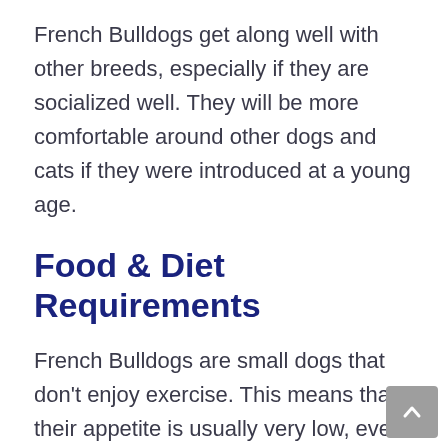French Bulldogs get along well with other breeds, especially if they are socialized well. They will be more comfortable around other dogs and cats if they were introduced at a young age.
Food & Diet Requirements
French Bulldogs are small dogs that don't enjoy exercise. This means that their appetite is usually very low, even though they appear hungry all